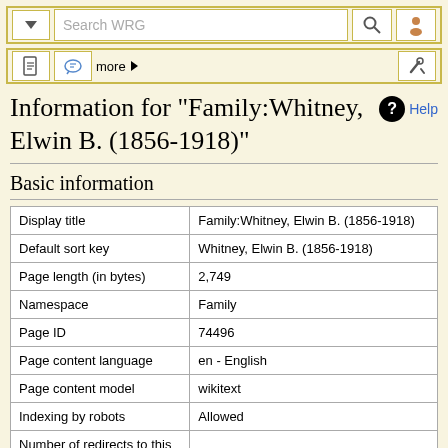Search WRG navigation bar
Information for "Family:Whitney, Elwin B. (1856-1918)"
Basic information
|  |  |
| --- | --- |
| Display title | Family:Whitney, Elwin B. (1856-1918) |
| Default sort key | Whitney, Elwin B. (1856-1918) |
| Page length (in bytes) | 2,749 |
| Namespace | Family |
| Page ID | 74496 |
| Page content language | en - English |
| Page content model | wikitext |
| Indexing by robots | Allowed |
| Number of redirects to this page | 0 |
| Counted as a content page | Yes |